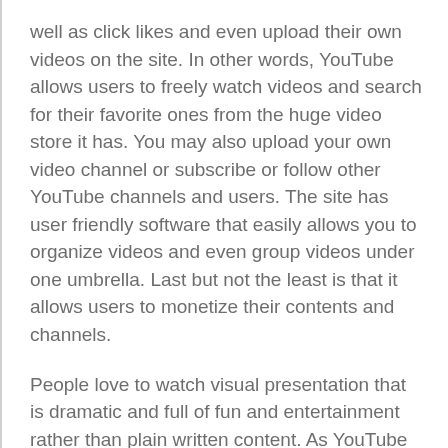well as click likes and even upload their own videos on the site. In other words, YouTube allows users to freely watch videos and search for their favorite ones from the huge video store it has. You may also upload your own video channel or subscribe or follow other YouTube channels and users. The site has user friendly software that easily allows you to organize videos and even group videos under one umbrella. Last but not the least is that it allows users to monetize their contents and channels.
People love to watch visual presentation that is dramatic and full of fun and entertainment rather than plain written content. As YouTube comprises of only videos it is obvious that most people would become fast fans of it without fail. Besides, becoming an entertaining platform for users to watch it offers enough scope for people to make use of it for earning